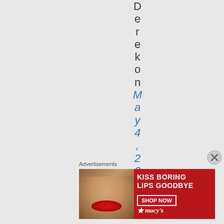Derekon May 4, 2017
Advertisements
[Figure (illustration): Advertisement banner for Macy's lipstick: 'KISS BORING LIPS GOODBYE' with SHOP NOW button and Macy's star logo, showing a woman's face with red lipstick]